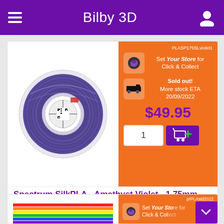Bilby 3D
PLASP175SLviolet1
Set Your Store for Click & Collect
Sold out! More stock ETA 20/09/2022
$49.95
[Figure (photo): Spool of Spectrum SilkPLA Amethyst Violet filament, 1.75mm 1kg, purple/dark blue metallic sheen on white spool]
Spectrum SilkPLA - Amethyst Violet - 1.75mm - 1kg Spool
Spectrum PLA SILK is a filament for the incremental production on the basis of PLA with the use of coloring concentrates that give the effect of a satin structure of the manufactured elements. This is a unique material with extremely aesthetic qualities.
prPLAstd2022
Set Your Store for Click & Col